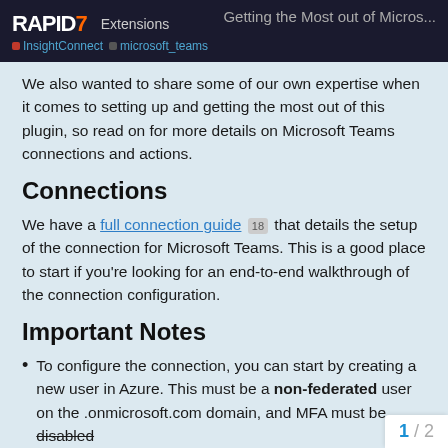RAPID7 Extensions | Getting the Most out of Micros... | InsightConnect | microsoft_teams
We also wanted to share some of our own expertise when it comes to setting up and getting the most out of this plugin, so read on for more details on Microsoft Teams connections and actions.
Connections
We have a full connection guide [18] that details the setup of the connection for Microsoft Teams. This is a good place to start if you're looking for an end-to-end walkthrough of the connection configuration.
Important Notes
To configure the connection, you can start by creating a new user in Azure. This must be a non-federated user on the .onmicrosoft.com domain, and MFA must be disabled
The user must be provisioned a licen... Teams.
1 / 2